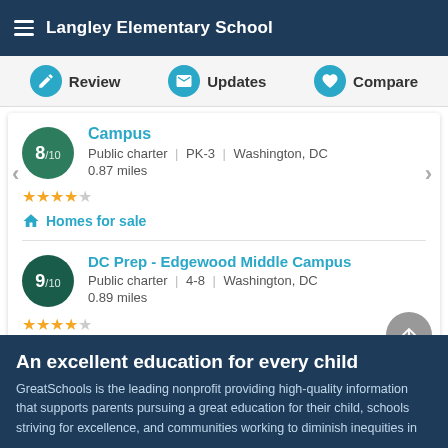Langley Elementary School
Review | Updates | Compare
Campus
Public charter | PK-3 | Washington, DC
0.87 miles
Homes for sale
DC Prep - Edgewood Middle Campus
Public charter | 4-8 | Washington, DC
0.89 miles
Homes for sale
An excellent education for every child
GreatSchools is the leading nonprofit providing high-quality information that supports parents pursuing a great education for their child, schools striving for excellence, and communities working to diminish inequities in